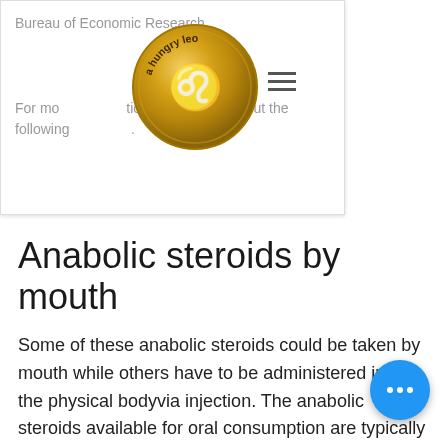Bureau of Economic Research.
For more information, please check out the following.
[Figure (illustration): Gold coin with Leo zodiac symbol and text 'a hungry leo']
Anabolic steroids by mouth
Some of these anabolic steroids could be taken by mouth while others have to be administered into the physical body via injection. The anabolic steroids available for oral consumption are typically referred to as synthetic (steroid) or "nonsexotic" (natural) substances. It would be difficult to obtain all of the natural versions of these substances (some of which, such as flutamide, are only naturally produced by human beings) so there are a few synthetic versions of commonly used anabolic androgenic steroids at the commonly used steroids